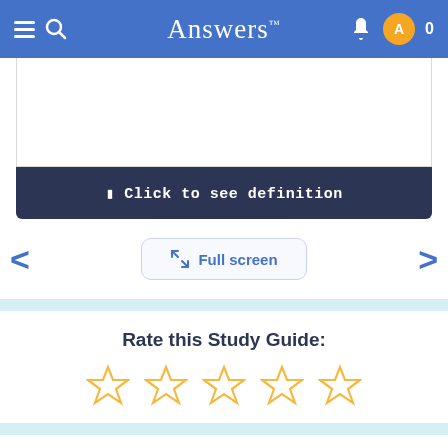Answers™
[Figure (screenshot): White card area (flashcard front, content not shown)]
☰ Click to see definition
< Full screen >
Rate this Study Guide:
[Figure (infographic): Five empty star rating icons in gold/yellow outline]
Cards in this guide (20)
[Figure (screenshot): Bottom of a mini card, partially visible]